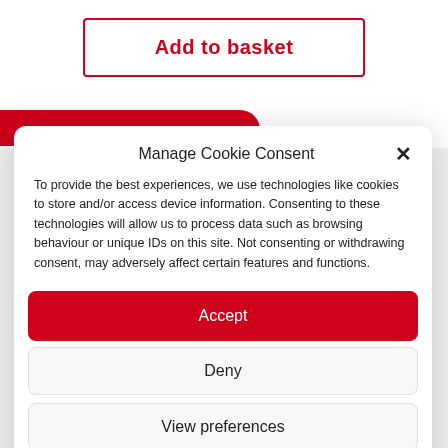Add to basket
Manage Cookie Consent
To provide the best experiences, we use technologies like cookies to store and/or access device information. Consenting to these technologies will allow us to process data such as browsing behaviour or unique IDs on this site. Not consenting or withdrawing consent, may adversely affect certain features and functions.
Accept
Deny
View preferences
Privacy Policy